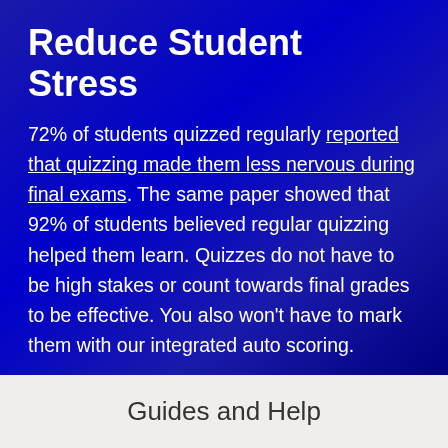Reduce Student Stress
72% of students quizzed regularly reported that quizzing made them less nervous during final exams. The same paper showed that 92% of students believed regular quizzing helped them learn. Quizzes do not have to be high stakes or count towards final grades to be effective. You also won't have to mark them with our integrated auto scoring.
Guides and Help